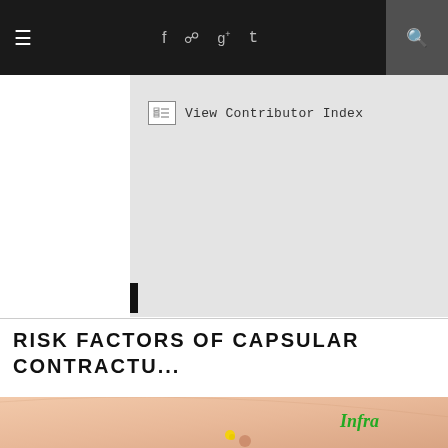≡  f  🔲  g+  t  🔍
[Figure (screenshot): View Contributor Index button with checkbox icon on light gray background]
RISK FACTORS OF CAPSULAR CONTRACTU...
[Figure (photo): Medical photo of breast with yellow surgical marker, and green italic text 'Infra' overlaid on the right side]